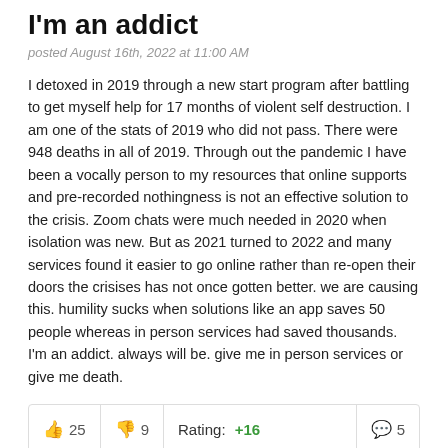I'm an addict
posted August 16th, 2022 at 11:00 AM
I detoxed in 2019 through a new start program after battling to get myself help for 17 months of violent self destruction. I am one of the stats of 2019 who did not pass. There were 948 deaths in all of 2019. Through out the pandemic I have been a vocally person to my resources that online supports and pre-recorded nothingness is not an effective solution to the crisis. Zoom chats were much needed in 2020 when isolation was new. But as 2021 turned to 2022 and many services found it easier to go online rather than re-open their doors the crisises has not once gotten better. we are causing this. humility sucks when solutions like an app saves 50 people whereas in person services had saved thousands. I'm an addict. always will be. give me in person services or give me death.
👍 25  👎 9  Rating: +16  💬 5
Sunny Vancouver Days